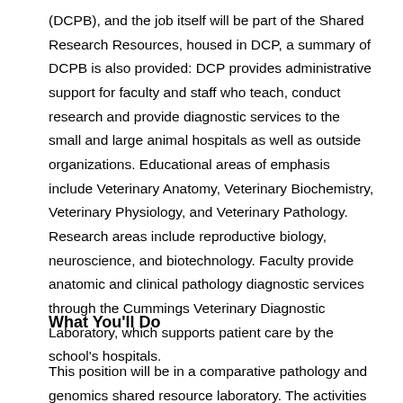(DCPB), and the job itself will be part of the Shared Research Resources, housed in DCP, a summary of DCPB is also provided: DCP provides administrative support for faculty and staff who teach, conduct research and provide diagnostic services to the small and large animal hospitals as well as outside organizations. Educational areas of emphasis include Veterinary Anatomy, Veterinary Biochemistry, Veterinary Physiology, and Veterinary Pathology. Research areas include reproductive biology, neuroscience, and biotechnology. Faculty provide anatomic and clinical pathology diagnostic services through the Cummings Veterinary Diagnostic Laboratory, which supports patient care by the school's hospitals.
What You'll Do
This position will be in a comparative pathology and genomics shared resource laboratory. The activities in the laboratory include processing